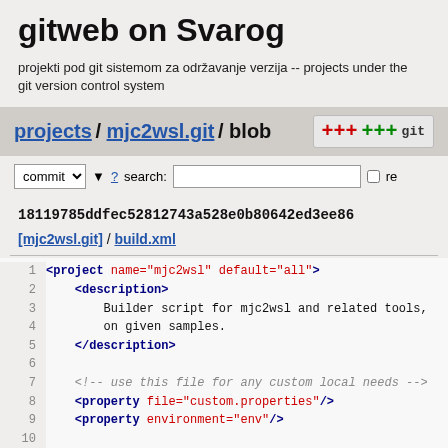gitweb on Svarog
projekti pod git sistemom za održavanje verzija -- projects under the git version control system
projects / mjc2wsl.git / blob
commit ▼ ? search: [ ] re
18119785ddfec52812743a528e0b80642ed3ee86
[mjc2wsl.git] / build.xml
[Figure (screenshot): Code listing of build.xml with line numbers 1-13, showing XML content with syntax highlighting]